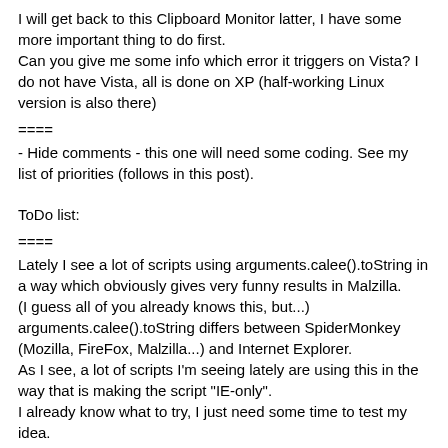I will get back to this Clipboard Monitor latter, I have some more important thing to do first.
Can you give me some info which error it triggers on Vista? I do not have Vista, all is done on XP (half-working Linux version is also there)
====
- Hide comments - this one will need some coding. See my list of priorities (follows in this post).
ToDo list:
====
Lately I see a lot of scripts using arguments.calee().toString in a way which obviously gives very funny results in Malzilla.
(I guess all of you already knows this, but...)
arguments.calee().toString differs between SpiderMonkey (Mozilla, FireFox, Malzilla...) and Internet Explorer.
As I see, a lot of scripts I'm seeing lately are using this in the way that is making the script "IE-only".
I already know what to try, I just need some time to test my idea.
====
History/Log/Case - no, that are not 3 options needed, it is just one feature. I received a request of keeping tracks what and how was something done and to group things in something like a Project/Case.